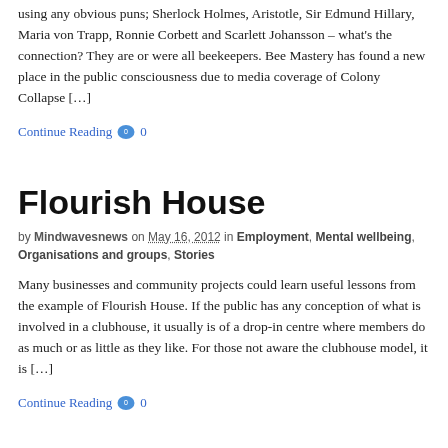using any obvious puns; Sherlock Holmes, Aristotle, Sir Edmund Hillary, Maria von Trapp, Ronnie Corbett and Scarlett Johansson – what's the connection? They are or were all beekeepers. Bee Mastery has found a new place in the public consciousness due to media coverage of Colony Collapse […]
Continue Reading 0
Flourish House
by Mindwavesnews on May 16, 2012 in Employment, Mental wellbeing, Organisations and groups, Stories
Many businesses and community projects could learn useful lessons from the example of Flourish House. If the public has any conception of what is involved in a clubhouse, it usually is of a drop-in centre where members do as much or as little as they like. For those not aware the clubhouse model, it is […]
Continue Reading 0